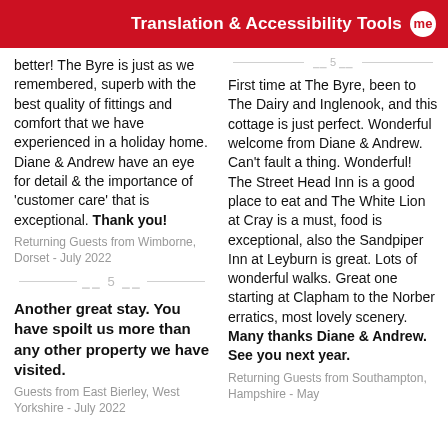Translation & Accessibility Tools me
better! The Byre is just as we remembered, superb with the best quality of fittings and comfort that we have experienced in a holiday home. Diane & Andrew have an eye for detail & the importance of 'customer care' that is exceptional. Thank you!
Returning Guests from Wimborne, Dorset - July 2022
Another great stay. You have spoilt us more than any other property we have visited.
Guests from East Bierley, West Yorkshire - July 2022
First time at The Byre, been to The Dairy and Inglenook, and this cottage is just perfect. Wonderful welcome from Diane & Andrew. Can't fault a thing. Wonderful! The Street Head Inn is a good place to eat and The White Lion at Cray is a must, food is exceptional, also the Sandpiper Inn at Leyburn is great. Lots of wonderful walks. Great one starting at Clapham to the Norber erratics, most lovely scenery. Many thanks Diane & Andrew. See you next year.
Returning Guests from Southampton, Hampshire - May 2022